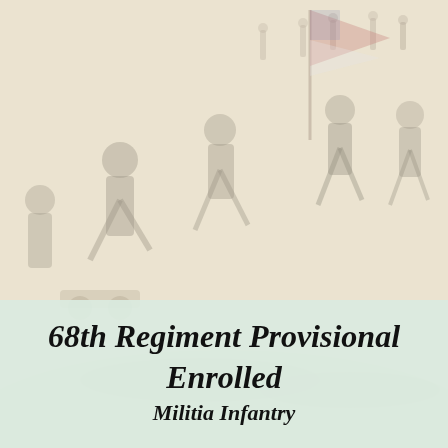[Figure (illustration): Faded Civil War battle scene painting showing Union soldiers charging with the American flag, with soldiers fighting in the foreground and background against a light yellow-brown landscape.]
68th Regiment Provisional Enrolled Militia Infantry